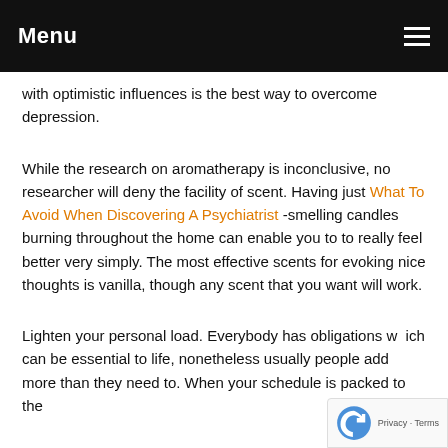Menu
with optimistic influences is the best way to overcome depression.
While the research on aromatherapy is inconclusive, no researcher will deny the facility of scent. Having just What To Avoid When Discovering A Psychiatrist -smelling candles burning throughout the home can enable you to to really feel better very simply. The most effective scents for evoking nice thoughts is vanilla, though any scent that you want will work.
Lighten your personal load. Everybody has obligations which can be essential to life, nonetheless usually people add more than they need to. When your schedule is packed to the